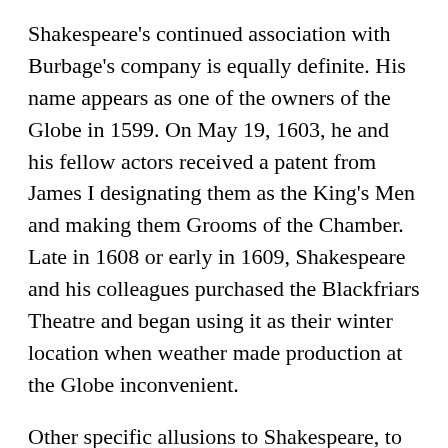Shakespeare's continued association with Burbage's company is equally definite. His name appears as one of the owners of the Globe in 1599. On May 19, 1603, he and his fellow actors received a patent from James I designating them as the King's Men and making them Grooms of the Chamber. Late in 1608 or early in 1609, Shakespeare and his colleagues purchased the Blackfriars Theatre and began using it as their winter location when weather made production at the Globe inconvenient.
Other specific allusions to Shakespeare, to his acting and his writing, occur in numerous places. Put together, they form irrefutable testimony that William Shakespeare of Stratford and London was the leader among Elizabethan playwrights.
One of the most impressive of all proofs of Shakespeare's authorship of his plays is the First Folio of 1623, with the dedicatory verse which appeared in it. John Heminge and